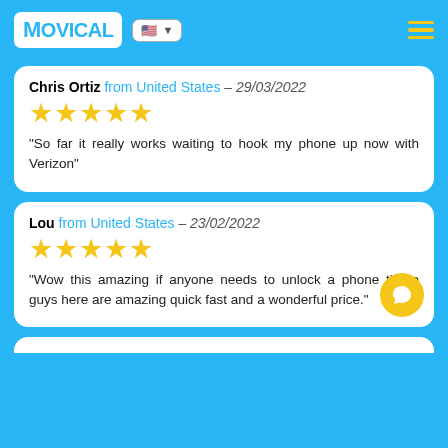MOVICAL - header with logo, US flag, language selector, and hamburger menu
Chris Ortiz from United States - 29/03/2022 ★★★★★ "So far it really works waiting to hook my phone up now with Verizon"
Lou from United States - 23/02/2022 ★★★★★ "Wow this amazing if anyone needs to unlock a phone these guys here are amazing quick fast and a wonderful price."